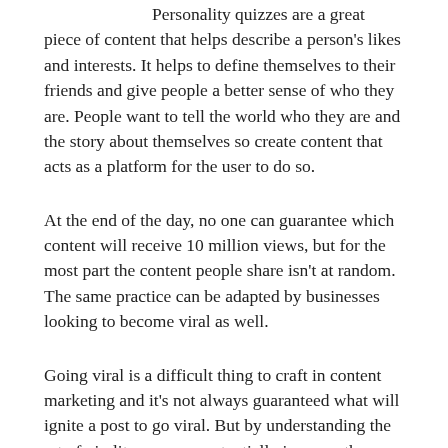Personality quizzes are a great piece of content that helps describe a person's likes and interests. It helps to define themselves to their friends and give people a better sense of who they are. People want to tell the world who they are and the story about themselves so create content that acts as a platform for the user to do so.
At the end of the day, no one can guarantee which content will receive 10 million views, but for the most part the content people share isn't at random. The same practice can be adapted by businesses looking to become viral as well.
Going viral is a difficult thing to craft in content marketing and it's not always guaranteed what will ignite a post to go viral. But by understanding the art of virality, you can potentially increase the likelihood that your content will be shared by your followers.